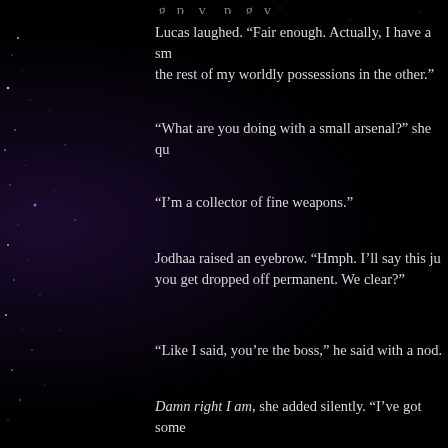Lucas laughed. “Fair enough. Actually, I have a small arsenal in one bag and the rest of my worldly possessions in the other.”
“What are you doing with a small arsenal?” she qu…
“I’m a collector of fine weapons.”
Jodhaa raised an eyebrow. “Hmph. I’ll say this ju… you get dropped off permanent. We clear?”
“Like I said, you’re the boss,” he said with a nod.
Damn right I am, she added silently. “I’ve got some… about you stow your gear and then get started che… it doesn’t work. I just hope to hell any new parts w… into buying this ship.”
“Then you probably paid too much,” said her new e…